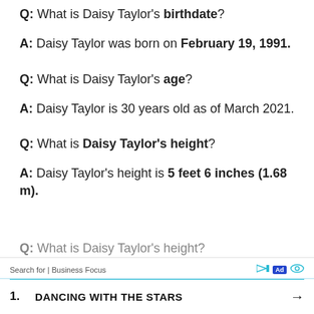Q: What is Daisy Taylor's birthdate?
A: Daisy Taylor was born on February 19, 1991.
Q: What is Daisy Taylor's age?
A: Daisy Taylor is 30 years old as of March 2021.
Q: What is Daisy Taylor's height?
A: Daisy Taylor's height is 5 feet 6 inches (1.68 m).
Q: What is Daisy Taylor's [partially visible]
Search for | Business Focus  [Ad]  1. DANCING WITH THE STARS →